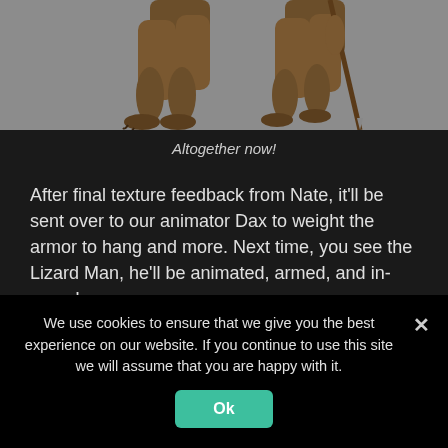[Figure (illustration): 3D rendered lizard man character shown from the waist down, two poses side by side, on a gray background]
Altogether now!
After final texture feedback from Nate, it'll be sent over to our animator Dax to weight the armor to hang and more. Next time, you see the Lizard Man, he'll be animated, armed, and in-game!
For more on Jed's video game and miniature work, check out his portfolio here.
We use cookies to ensure that we give you the best experience on our website. If you continue to use this site we will assume that you are happy with it.